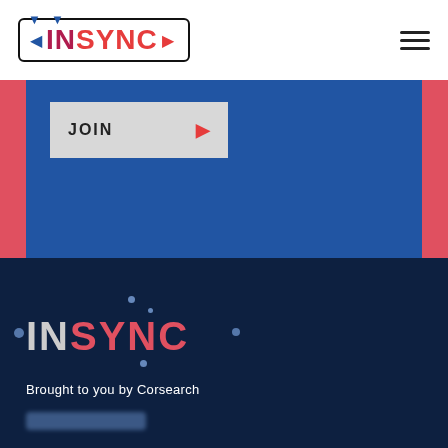[Figure (logo): INSYNC logo with border box and triangular arrow decorations in blue and red]
[Figure (other): Hamburger menu icon (three horizontal lines)]
[Figure (other): Blue banner section with red side strips]
JOIN
[Figure (logo): INSYNC logo on dark navy background with decorative dots]
Brought to you by Corsearch